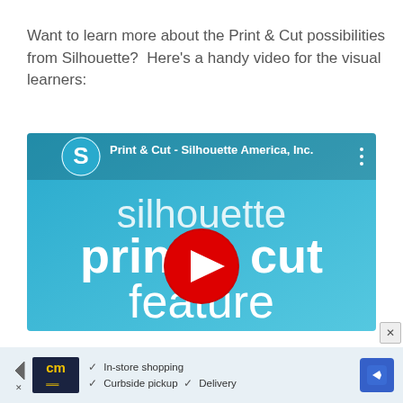Want to learn more about the Print & Cut possibilities from Silhouette?  Here's a handy video for the visual learners:
[Figure (screenshot): YouTube video thumbnail showing a Silhouette branded video titled 'Print & Cut - Silhouette America, Inc.' with a red play button in the center and text reading 'silhouette print & cut feature' on a blue gradient background]